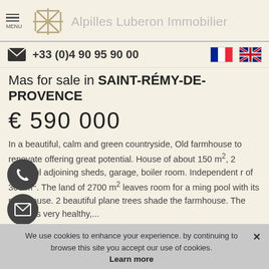MENU  Alpilles Luberon Immobilier
+33 (0)4 90 95 90 00
Mas for sale in SAINT-RÉMY-DE-PROVENCE
€ 590 000
In a beautiful, calm and green countryside, Old farmhouse to renovate offering great potential. House of about 150 m², 2 beautiful adjoining sheds, garage, boiler room. Independent r of 300 m². The land of 2700 m² leaves room for a ming pool with its pool house. 2 beautiful plane trees shade the farmhouse. The house is very healthy,...
Ref. 685V144M
We use cookies to enhance your experience. by continuing to browse this site you accept our use of cookies.
Learn more